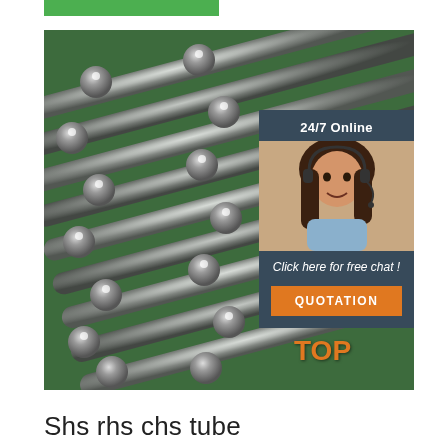[Figure (photo): Green bar at top of page, decorative header element]
[Figure (photo): Close-up photo of bundled steel round bars/rods arranged diagonally on green surface, showing circular cross-sections of metallic tubes]
[Figure (infographic): 24/7 Online chat widget with photo of female customer service representative wearing headset, 'Click here for free chat!' text, and orange QUOTATION button]
[Figure (logo): Orange TOP badge with dots, bottom right of image]
Shs rhs chs tube